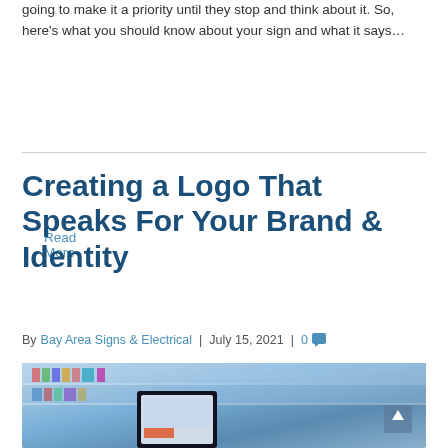going to make it a priority until they stop and think about it. So, here's what you should know about your sign and what it says…
Read More
Creating a Logo That Speaks For Your Brand & Identity
By Bay Area Signs & Electrical | July 15, 2021 | 0
[Figure (photo): A tablet computer on a desk with a blurred background showing colorful shelving or a store, illustrating logo and branding topic]